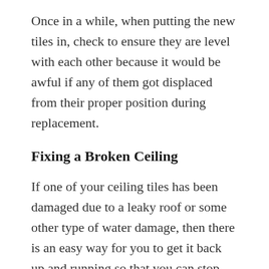Once in a while, when putting the new tiles in, check to ensure they are level with each other because it would be awful if any of them got displaced from their proper position during replacement.
Fixing a Broken Ceiling
If one of your ceiling tiles has been damaged due to a leaky roof or some other type of water damage, then there is an easy way for you to get it back up and running so that you can stop worrying about whether or not it will fall onto someone's head.
All you have to do is cut out the section where